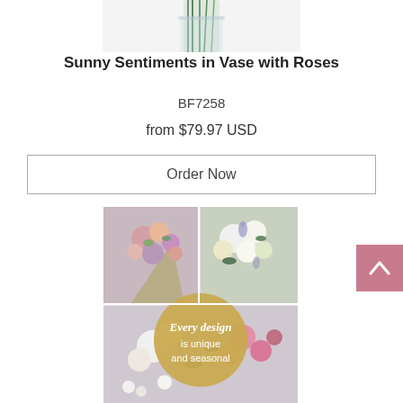[Figure (photo): Top portion of a product photo showing a glass vase with green stems, white background, partially cropped at top]
Sunny Sentiments in Vase with Roses
BF7258
from $79.97 USD
Order Now
[Figure (photo): Flower collage image showing three floral arrangements: top-left a colorful mixed bouquet wrapped in paper, top-right white lilies and roses in blue-purple arrangement, bottom a white lily and pink rose bouquet. A gold circle overlay reads 'Every design is unique and seasonal']
[Figure (other): Pink back-to-top button with upward chevron arrow]